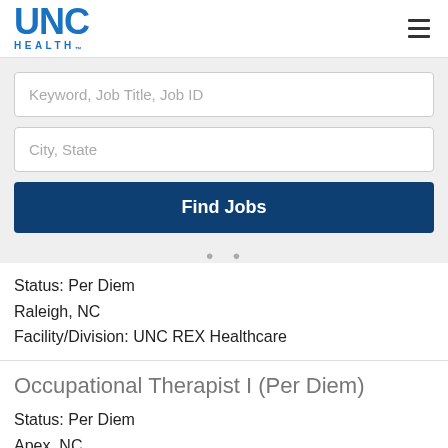[Figure (logo): UNC Health logo — blue UNC text with HEALTH below in spaced letters]
Keyword, Job Title, Job ID
City, State
Find Jobs
Status: Per Diem
Raleigh, NC
Facility/Division: UNC REX Healthcare
Occupational Therapist I (Per Diem)
Status: Per Diem
Apex, NC
Facility/Division: UNC REX Healthcare